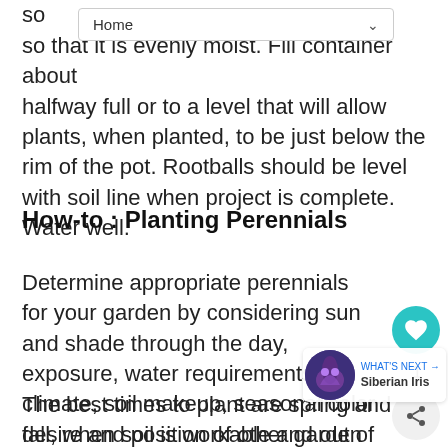so that it is evenly moist. Fill container about halfway full or to a level that will allow plants, when planted, to be just below the rim of the pot. Rootballs should be level with soil line when project is complete. Water well.
How-to : Planting Perennials
Determine appropriate perennials for your garden by considering sun and shade through the day, exposure, water requirements, climate, soil makeup, seasonal color desire and position of other garden plants and trees.
The best times to plant are spring and fall, when soil is workable and out of danger of